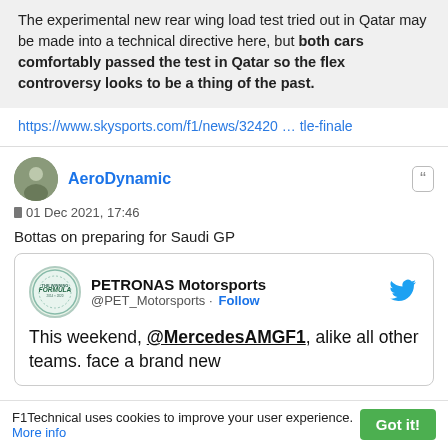The experimental new rear wing load test tried out in Qatar may be made into a technical directive here, but both cars comfortably passed the test in Qatar so the flex controversy looks to be a thing of the past.
https://www.skysports.com/f1/news/32420 … tle-finale
AeroDynamic
01 Dec 2021, 17:46
Bottas on preparing for Saudi GP
PETRONAS Motorsports @PET_Motorsports · Follow
This weekend, @MercedesAMGF1, alike all other teams. face a brand new
F1Technical uses cookies to improve your user experience. More info